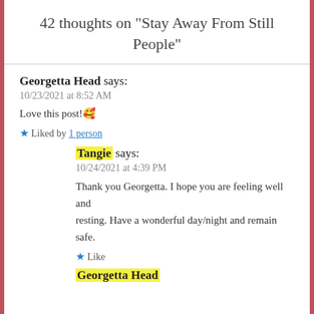42 thoughts on “Stay Away From Still People”
Georgetta Head says:
10/23/2021 at 8:52 AM
Love this post!🥰
★ Liked by 1 person
Tangie says:
10/24/2021 at 4:39 PM
Thank you Georgetta. I hope you are feeling well and resting. Have a wonderful day/night and remain safe.
★ Like
Georgetta Head